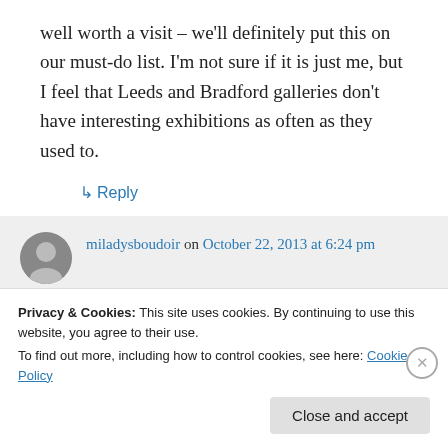well worth a visit – we'll definitely put this on our must-do list. I'm not sure if it is just me, but I feel that Leeds and Bradford galleries don't have interesting exhibitions as often as they used to.
↳ Reply
miladysboudoir on October 22, 2013 at 6:24 pm
I'm not keen on/don't understand modern
Privacy & Cookies: This site uses cookies. By continuing to use this website, you agree to their use.
To find out more, including how to control cookies, see here: Cookie Policy
Close and accept